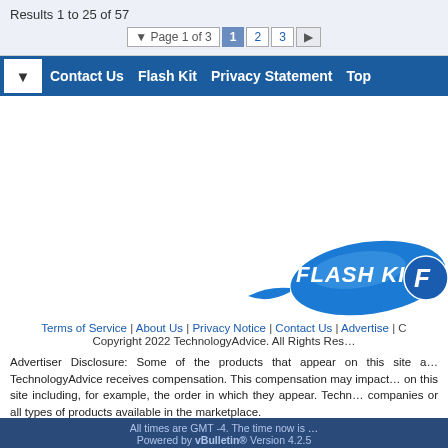Results 1 to 25 of 57
Page 1 of 3  1  2  3  ▶
Contact Us  Flash Kit  Privacy Statement  Top
[Figure (logo): Flash Kit logo with blue swoosh and letter F]
Terms of Service | About Us | Privacy Notice | Contact Us | Advertise | C…
Copyright 2022 TechnologyAdvice. All Rights Res…
Advertiser Disclosure: Some of the products that appear on this site a… TechnologyAdvice receives compensation. This compensation may impact… on this site including, for example, the order in which they appear. Techn… companies or all types of products available in the marketplace.
All times are GMT -4. The time now is … Powered by vBulletin® Version 4.2.5